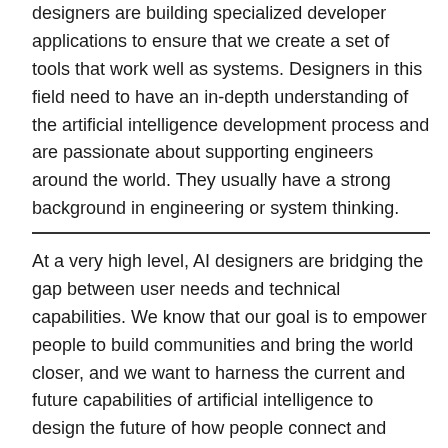designers are building specialized developer applications to ensure that we create a set of tools that work well as systems. Designers in this field need to have an in-depth understanding of the artificial intelligence development process and are passionate about supporting engineers around the world. They usually have a strong background in engineering or system thinking.
At a very high level, AI designers are bridging the gap between user needs and technical capabilities. We know that our goal is to empower people to build communities and bring the world closer, and we want to harness the current and future capabilities of artificial intelligence to design the future of how people connect and collaborate.